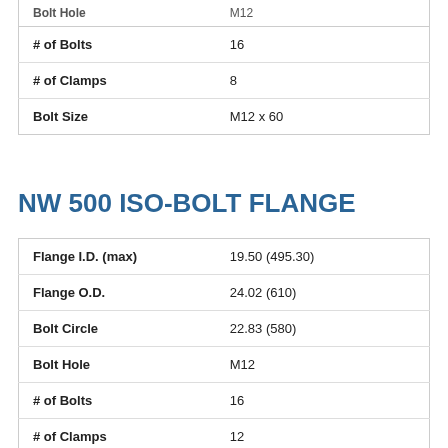| Property | Value |
| --- | --- |
| Bolt Hole | M12 |
| # of Bolts | 16 |
| # of Clamps | 8 |
| Bolt Size | M12 x 60 |
NW 500 ISO-BOLT FLANGE
| Property | Value |
| --- | --- |
| Flange I.D. (max) | 19.50 (495.30) |
| Flange O.D. | 24.02 (610) |
| Bolt Circle | 22.83 (580) |
| Bolt Hole | M12 |
| # of Bolts | 16 |
| # of Clamps | 12 |
| Bolt Size | M12 x 60 |